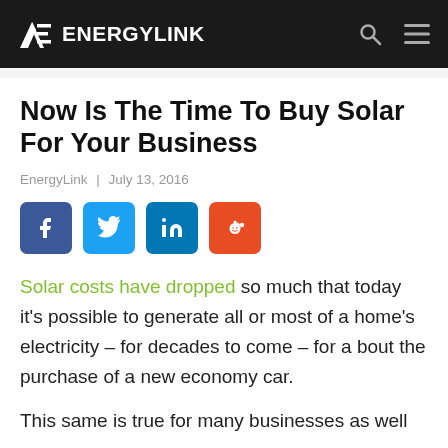ENERGYLINK
Now Is The Time To Buy Solar For Your Business
EnergyLink | July 13, 2016
[Figure (other): Social share buttons: Facebook, Twitter, LinkedIn, Reddit]
Solar costs have dropped so much that today it's possible to generate all or most of a home's electricity – for decades to come – for a bout the purchase of a new economy car.
This same is true for many businesses as well